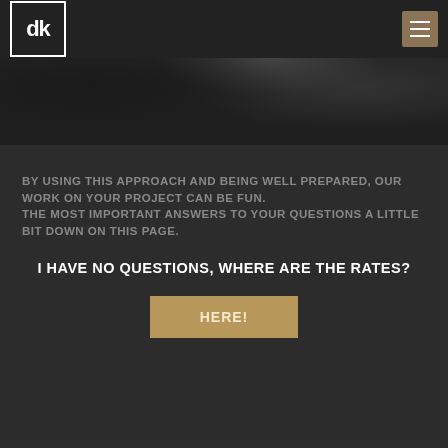dk | navigation menu
[Figure (photo): Dark moody background photo showing industrial or studio equipment in dark tones]
BY USING THIS APPROACH AND BEING WELL PREPARED, OUR WORK ON YOUR PROJECT CAN BE FUN. THE MOST IMPORTANT ANSWERS TO YOUR QUESTIONS A LITTLE BIT DOWN ON THIS PAGE.
I HAVE NO QUESTIONS, WHERE ARE THE RATES?
HERE!